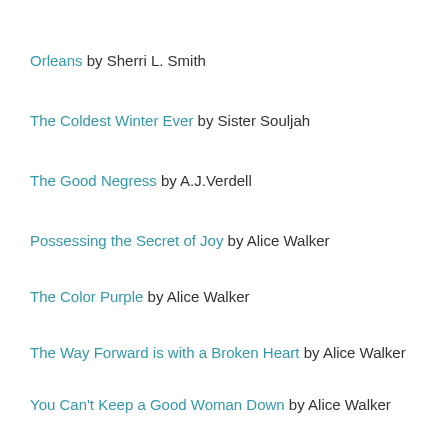Orleans by Sherri L. Smith
The Coldest Winter Ever by Sister Souljah
The Good Negress by A.J. Verdell
Possessing the Secret of Joy by Alice Walker
The Color Purple by Alice Walker
The Way Forward is with a Broken Heart by Alice Walker
You Can't Keep a Good Woman Down by Alice Walker
Dessa Rose by Sherley Anne Williams
Non-Fiction and Autobiography
We Should All Be Feminists by Chimamanda Ngozi Adichie